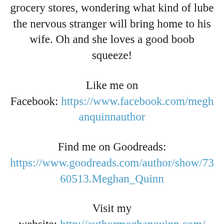grocery stores, wondering what kind of lube the nervous stranger will bring home to his wife. Oh and she loves a good boob squeeze!
Like me on Facebook: https://www.facebook.com/meghanquinnauthor
Find me on Goodreads: https://www.goodreads.com/author/show/7360513.Meghan_Quinn
Visit my website: http://authormeghanquinn.com/